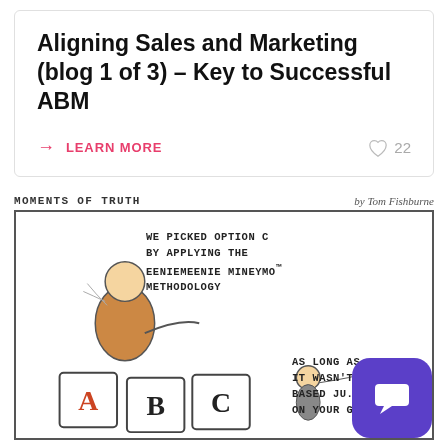Aligning Sales and Marketing (blog 1 of 3) – Key to Successful ABM
→ LEARN MORE
♡ 22
[Figure (illustration): Cartoon titled 'Moments of Truth' by Tom Fishburne showing a businessperson in front of blocks labeled A, B, C with caption: 'WE PICKED OPTION C BY APPLYING THE EENIEMEENIE MINEYMO™ METHODOLOGY' and 'AS LONG AS IT WASN'T BASED JUST ON YOUR GUT']